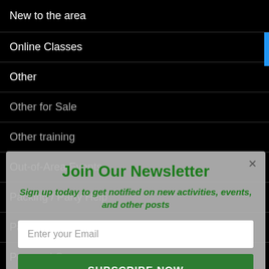New to the area
Online Classes
Other
Other for Sale
Other training
Out-of-Area Events
Packing / Party Help
Part-time Home Help
Personal Care
Pet Sitting
Pets
Photography
Physics
[Figure (screenshot): Newsletter signup modal overlay with title 'Join Our Newsletter', subtitle 'Sign up today to get notified on new activities, events, and other posts', email input field, and green SUBSCRIBE NOW button]